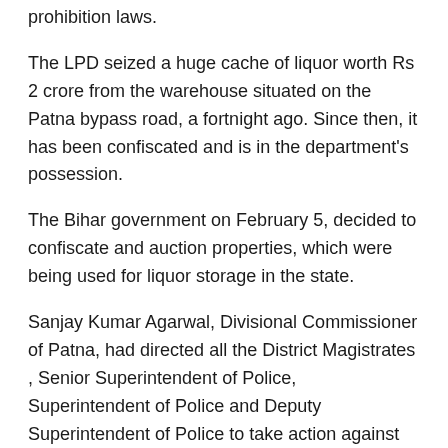prohibition laws.
The LPD seized a huge cache of liquor worth Rs 2 crore from the warehouse situated on the Patna bypass road, a fortnight ago. Since then, it has been confiscated and is in the department's possession.
The Bihar government on February 5, decided to confiscate and auction properties, which were being used for liquor storage in the state.
Sanjay Kumar Agarwal, Divisional Commissioner of Patna, had directed all the District Magistrates , Senior Superintendent of Police, Superintendent of Police and Deputy Superintendent of Police to take action against the liquor mafias and seal those properties used for illicit liquor trade, which will go under the hammer soon.